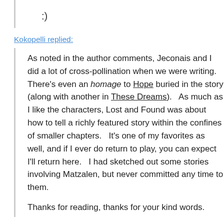:)
Kokopelli replied:
As noted in the author comments, Jeconais and I did a lot of cross-pollination when we were writing.   There's even an homage to Hope buried in the story (along with another in These Dreams).   As much as I like the characters, Lost and Found was about how to tell a richly featured story within the confines of smaller chapters.   It's one of my favorites as well, and if I ever do return to play, you can expect I'll return here.   I had sketched out some stories involving Matzalen, but never committed any time to them.
Thanks for reading, thanks for your kind words.